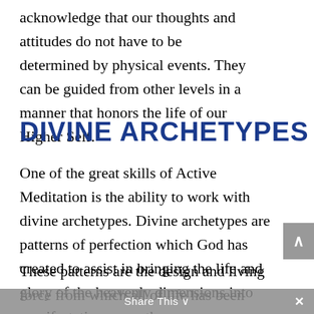acknowledge that our thoughts and attitudes do not have to be determined by physical events. They can be guided from other levels in a manner that honors the life of our Higher Self.
DIVINE ARCHETYPES
One of the great skills of Active Meditation is the ability to work with divine archetypes. Divine archetypes are patterns of perfection which God has created to assist in bringing the life and glory of the heavenly dimensions into manifestation on earth.
These patterns are the design and living force from which all of life has been created – humanity, civilization, nature, and the universe.
Share This ∨  ×